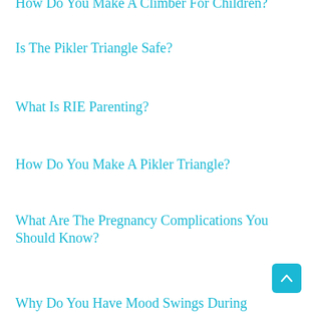How Do You Make A Climber For Children?
Is The Pikler Triangle Safe?
What Is RIE Parenting?
How Do You Make A Pikler Triangle?
What Are The Pregnancy Complications You Should Know?
Why Do You Have Mood Swings During Pregnancy?
What Are The Tips To Reduce Belly Fat After Pregnancy?
What Vitamins Should I Take During Pregnancy?
What Are The Symptoms Of Twins In Early